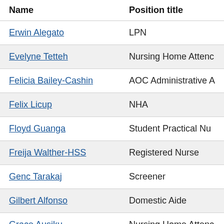| Name | Position title |
| --- | --- |
| Erwin Alegato | LPN |
| Evelyne Tetteh | Nursing Home Attend… |
| Felicia Bailey-Cashin | AOC Administrative A… |
| Felix Licup | NHA |
| Floyd Guanga | Student Practical Nu… |
| Freija Walther-HSS | Registered Nurse |
| Genc Tarakaj | Screener |
| Gilbert Alfonso | Domestic Aide |
| Grace Ausiku | Nursing Home Attend… |
| Grace Siame | LPN |
| Hagene Alojinan | NHA |